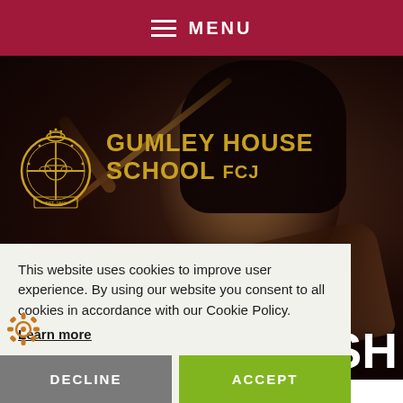MENU
[Figure (photo): A student playing violin, photographed close-up with dark background. Gumley House School logo and name overlaid in gold.]
GUMLEY HOUSE SCHOOL
TISH
This website uses cookies to improve user experience. By using our website you consent to all cookies in accordance with our Cookie Policy.
Learn more
DECLINE
ACCEPT